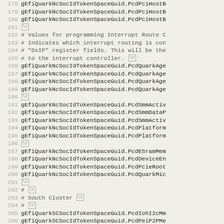[Figure (screenshot): Source code listing showing line numbers 178-210 with EFI token space GUID identifiers and comments about interrupt routing and South Cluster configuration]